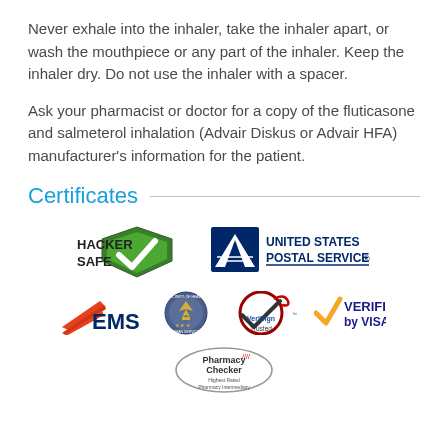Never exhale into the inhaler, take the inhaler apart, or wash the mouthpiece or any part of the inhaler. Keep the inhaler dry. Do not use the inhaler with a spacer.
Ask your pharmacist or doctor for a copy of the fluticasone and salmeterol inhalation (Advair Diskus or Advair HFA) manufacturer's information for the patient.
Certificates
[Figure (logo): Certificates logos: HackerSafe shield with checkmark, United States Postal Service eagle logo, EMS with orange/red wing stripe, HHS Department seal, VeriSign Trusted circle checkmark, Verified by Visa, PharmacyChecker oval logo]